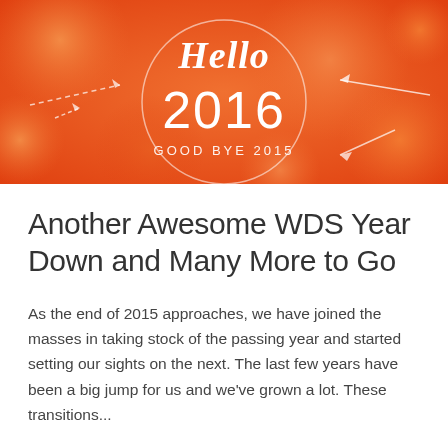[Figure (illustration): Orange gradient background with bokeh circles. A white circle outline in the center contains the script text 'Hello' at the top and large '2016' below it, with 'GOOD BYE 2015' underneath. Decorative arrows point in various directions across the orange background.]
Another Awesome WDS Year Down and Many More to Go
As the end of 2015 approaches, we have joined the masses in taking stock of the passing year and started setting our sights on the next. The last few years have been a big jump for us and we've grown a lot. These transitions...